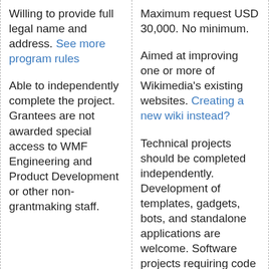Willing to provide full legal name and address. See more program rules
Able to independently complete the project. Grantees are not awarded special access to WMF Engineering and Product Development or other non-grantmaking staff.
Maximum request USD 30,000. No minimum.
Aimed at improving one or more of Wikimedia's existing websites. Creating a new wiki instead?
Technical projects should be completed independently. Development of templates, gadgets, bots, and standalone applications are welcome. Software projects requiring code